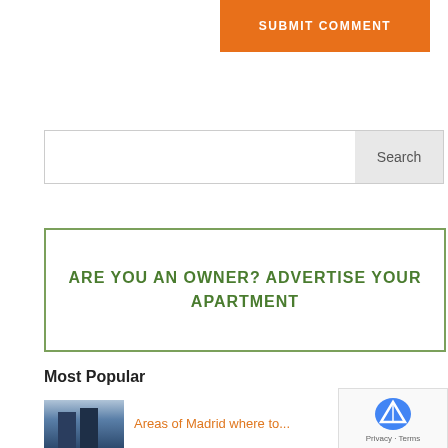SUBMIT COMMENT
[Figure (screenshot): Search bar with text input and Search button]
ARE YOU AN OWNER? ADVERTISE YOUR APARTMENT
Most Popular
[Figure (photo): Thumbnail photo of Madrid skyscrapers/buildings]
Areas of Madrid where to...